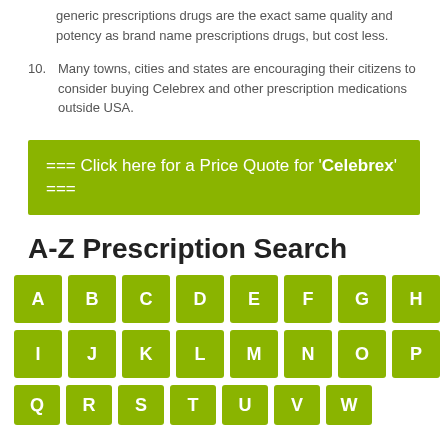generic prescriptions drugs are the exact same quality and potency as brand name prescriptions drugs, but cost less.
10. Many towns, cities and states are encouraging their citizens to consider buying Celebrex and other prescription medications outside USA.
=== Click here for a Price Quote for 'Celebrex' ===
A-Z Prescription Search
[Figure (other): A-Z letter buttons grid: Row 1: A B C D E F G H, Row 2: I J K L M N O P, Row 3: partial row visible (Q R S T U V ...)]